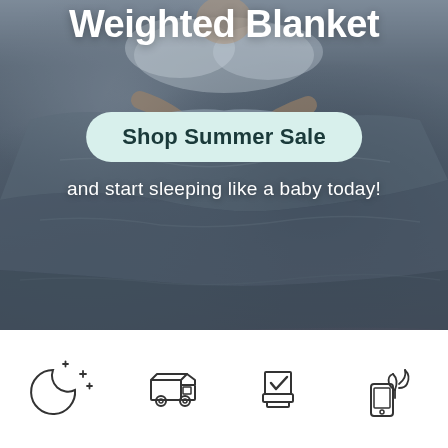[Figure (photo): Person in bed covered with a grey weighted blanket, photographed from above. Text overlay reads 'Weighted Blanket' at top, a teal rounded button 'Shop Summer Sale' in the middle, and tagline 'and start sleeping like a baby today!' below.]
Weighted Blanket
Shop Summer Sale
and start sleeping like a baby today!
[Figure (illustration): Four line-art icons in a row on white background: a crescent moon with stars, a delivery truck, a checkmark/approval stamp, and a mobile phone with leaves/plant.]